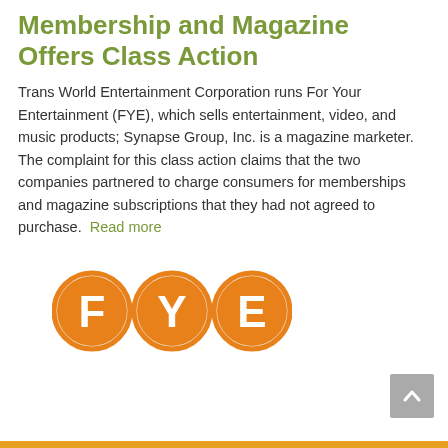Membership and Magazine Offers Class Action
Trans World Entertainment Corporation runs For Your Entertainment (FYE), which sells entertainment, video, and music products; Synapse Group, Inc. is a magazine marketer. The complaint for this class action claims that the two companies partnered to charge consumers for memberships and magazine subscriptions that they had not agreed to purchase.  Read more
[Figure (logo): FYE logo — three orange circles each containing a white letter: F, Y, E]